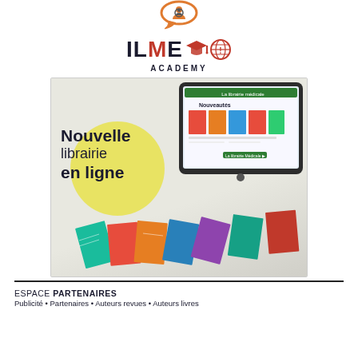[Figure (logo): Partial logo at top (person/chat icon)]
[Figure (logo): ILAE ACADEMY logo with graduation cap and globe icons]
[Figure (illustration): Advertisement image showing 'Nouvelle librairie en ligne' with a tablet displaying an online bookstore and scattered book covers in front]
ESPACE PARTENAIRES
Publicité • Partenaires • Auteurs revues • Auteurs livres